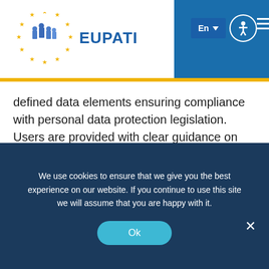EUPATI
defined data elements ensuring compliance with personal data protection legislation. Users are provided with clear guidance on the interpretation of data. Of the approximately 220 data elements per report, access will be granted to around 25%.
Interpreting the data on European databases
We use cookies to ensure that we give you the best experience on our website. If you continue to use this site we will assume that you are happy with it.